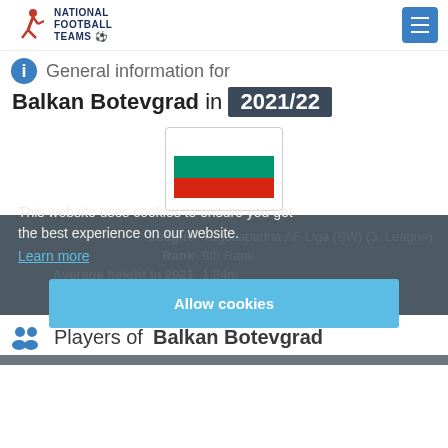National Football Teams — menu button
General information for Balkan Botevgrad in 2021/22
[Figure (illustration): Bulgarian flag (white, green, red horizontal stripes) in a bordered box]
| Field | Value |
| --- | --- |
| League | Yugozapadna AF Liga (SW) (3. League) |
| Rank | 6th Rank |
| Average height in 2021 | 1.84m |
| Average age in 2021 | 34 |
This website uses cookies to ensure you get the best experience on our website. Learn more
Allow cookies
Players of Balkan Botevgrad